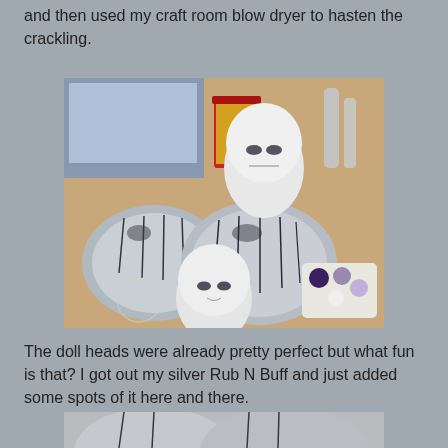and then used my craft room blow dryer to hasten the crackling.
[Figure (photo): Photo of two crackle-painted white/grey pumpkins with creepy doll heads placed on top and nearby on a wooden table, alongside a red cup and paint palette with purple and white paints.]
The doll heads were already pretty perfect but what fun is that? I got out my silver Rub N Buff and just added some spots of it here and there.
[Figure (photo): Close-up photo of crackle-painted grey/white pumpkins showing the texture detail.]